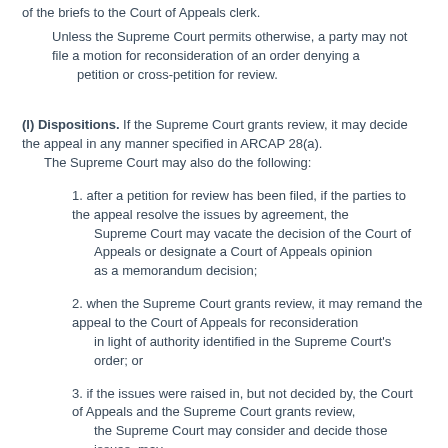of the briefs to the Court of Appeals clerk.
Unless the Supreme Court permits otherwise, a party may not file a motion for reconsideration of an order denying a petition or cross-petition for review.
(l) Dispositions. If the Supreme Court grants review, it may decide the appeal in any manner specified in ARCAP 28(a).
The Supreme Court may also do the following:
1. after a petition for review has been filed, if the parties to the appeal resolve the issues by agreement, the Supreme Court may vacate the decision of the Court of Appeals or designate a Court of Appeals opinion as a memorandum decision;
2. when the Supreme Court grants review, it may remand the appeal to the Court of Appeals for reconsideration in light of authority identified in the Supreme Court's order; or
3. if the issues were raised in, but not decided by, the Court of Appeals and the Supreme Court grants review, the Supreme Court may consider and decide those issues, may remand the appeal to the Court of Appeals